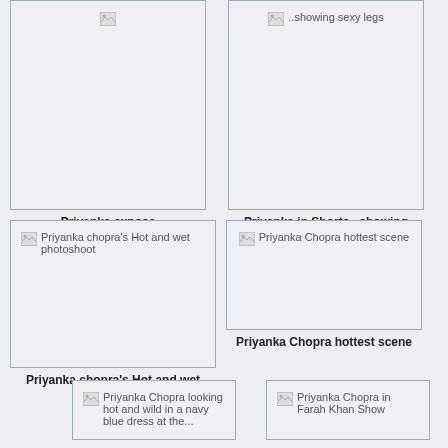[Figure (photo): Broken image placeholder labeled 'Priyanka expose']
Priyanka expose
[Figure (photo): Broken image placeholder labeled 'Priyanka in Shorts ..showing sexy legs']
Priyanka in Shorts ..showing sexy legs
[Figure (photo): Broken image placeholder labeled 'Priyanka chopra's Hot and wet photoshoot']
Priyanka chopra's Hot and wet photoshoot
[Figure (photo): Broken image placeholder labeled 'Priyanka Chopra hottest scene']
Priyanka Chopra hottest scene
[Figure (photo): Broken image placeholder labeled 'Priyanka Chopra looking hot and wild in a navy blue dress at the...']
[Figure (photo): Broken image placeholder labeled 'Priyanka Chopra in Farah Khan Show']